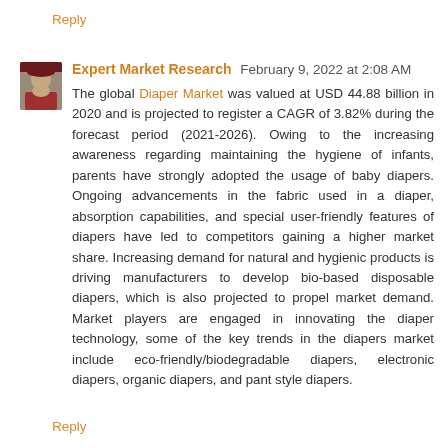Reply
Expert Market Research  February 9, 2022 at 2:08 AM
The global Diaper Market was valued at USD 44.88 billion in 2020 and is projected to register a CAGR of 3.82% during the forecast period (2021-2026). Owing to the increasing awareness regarding maintaining the hygiene of infants, parents have strongly adopted the usage of baby diapers. Ongoing advancements in the fabric used in a diaper, absorption capabilities, and special user-friendly features of diapers have led to competitors gaining a higher market share. Increasing demand for natural and hygienic products is driving manufacturers to develop bio-based disposable diapers, which is also projected to propel market demand. Market players are engaged in innovating the diaper technology, some of the key trends in the diapers market include eco-friendly/biodegradable diapers, electronic diapers, organic diapers, and pant style diapers.
Reply